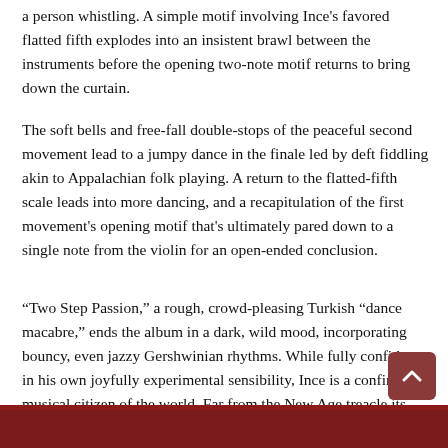a person whistling. A simple motif involving Ince's favored flatted fifth explodes into an insistent brawl between the instruments before the opening two-note motif returns to bring down the curtain.
The soft bells and free-fall double-stops of the peaceful second movement lead to a jumpy dance in the finale led by deft fiddling akin to Appalachian folk playing. A return to the flatted-fifth scale leads into more dancing, and a recapitulation of the first movement's opening motif that's ultimately pared down to a single note from the violin for an open-ended conclusion.
“Two Step Passion,” a rough, crowd-pleasing Turkish “dance macabre,” ends the album in a dark, wild mood, incorporating bouncy, even jazzy Gershwinian rhythms. While fully confident in his own joyfully experimental sensibility, Ince is a confirmed musical citizen of the world. Far from the New Age treacle its title might suggest, the intellectually and emotionally muscular Passion and Dreams rewards multiple listens.